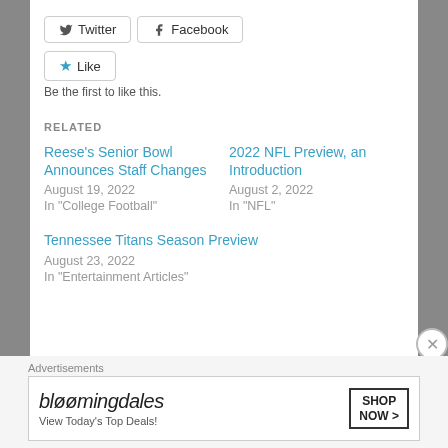[Figure (screenshot): Social share buttons: Twitter and Facebook]
[Figure (screenshot): Like button with star icon]
Be the first to like this.
RELATED
Reese's Senior Bowl Announces Staff Changes
August 19, 2022
In "College Football"
2022 NFL Preview, an Introduction
August 2, 2022
In "NFL"
Tennessee Titans Season Preview
August 23, 2022
In "Entertainment Articles"
Advertisements
[Figure (screenshot): Bloomingdale's advertisement banner: View Today's Top Deals! SHOP NOW >]